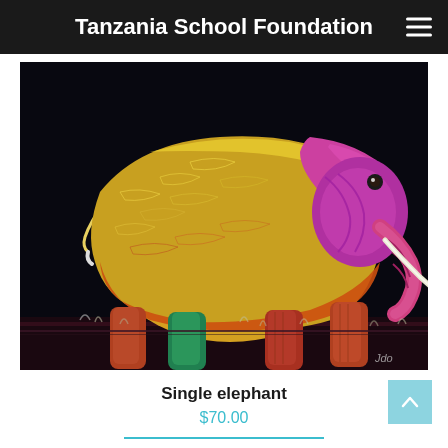Tanzania School Foundation
[Figure (illustration): Colorful chalk or pastel artwork of an elephant walking, rendered on black background. The elephant body features vivid yellows, oranges, pinks, greens, and purples with expressive stroke lines.]
Single elephant
$70.00